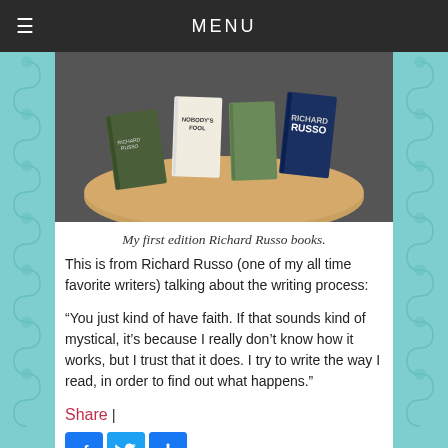MENU
[Figure (photo): Photo of Richard Russo first edition books arranged on a round wooden table]
My first edition Richard Russo books.
This is from Richard Russo (one of my all time favorite writers) talking about the writing process:
“You just kind of have faith. If that sounds kind of mystical, it’s because I really don’t know how it works, but I trust that it does. I try to write the way I read, in order to find out what happens.”
Share |
[Figure (other): Social share buttons: Facebook, Twitter, and Add/Plus button]